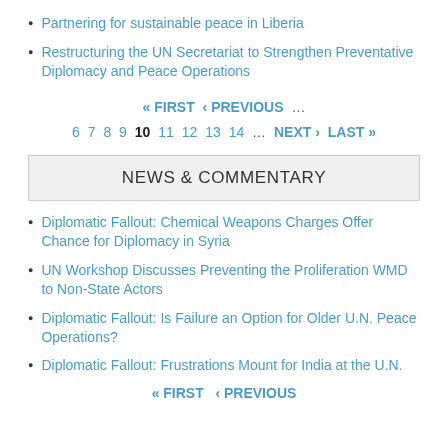Partnering for sustainable peace in Liberia
Restructuring the UN Secretariat to Strengthen Preventative Diplomacy and Peace Operations
« FIRST ‹ PREVIOUS … 6 7 8 9 10 11 12 13 14 … NEXT › LAST »
NEWS & COMMENTARY
Diplomatic Fallout: Chemical Weapons Charges Offer Chance for Diplomacy in Syria
UN Workshop Discusses Preventing the Proliferation WMD to Non-State Actors
Diplomatic Fallout: Is Failure an Option for Older U.N. Peace Operations?
Diplomatic Fallout: Frustrations Mount for India at the U.N.
« FIRST ‹ PREVIOUS